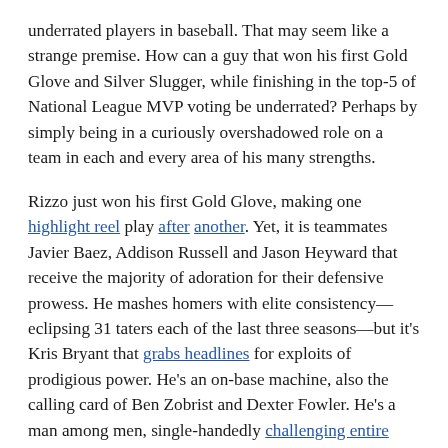underrated players in baseball. That may seem like a strange premise. How can a guy that won his first Gold Glove and Silver Slugger, while finishing in the top-5 of National League MVP voting be underrated? Perhaps by simply being in a curiously overshadowed role on a team in each and every area of his many strengths.
Rizzo just won his first Gold Glove, making one highlight reel play after another. Yet, it is teammates Javier Baez, Addison Russell and Jason Heyward that receive the majority of adoration for their defensive prowess. He mashes homers with elite consistency—eclipsing 31 taters each of the last three seasons—but it's Kris Bryant that grabs headlines for exploits of prodigious power. He's an on-base machine, also the calling card of Ben Zobrist and Dexter Fowler. He's a man among men, single-handedly challenging entire dugouts to bring their worst... before welcoming the instigating player to his team when it was time to make amends for the betterment of the club. Still, it's David Ross, Jon Lester and Zobrist who are lauded more than